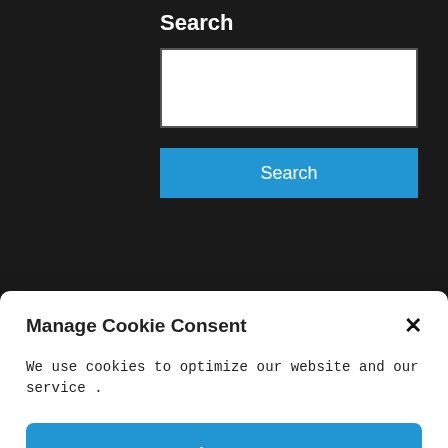Search
[Figure (screenshot): Search input text field, white background]
[Figure (screenshot): Blue Search button]
Manage Cookie Consent
We use cookies to optimize our website and our service .
Accept
Cookie Policy
[Figure (photo): Faint background image of a person smiling]
[Figure (screenshot): Dark scroll-to-top button with upward chevron arrows]